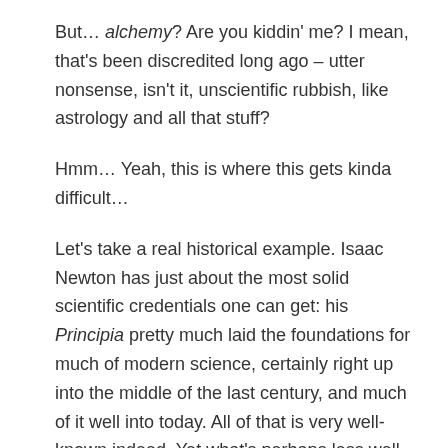But… alchemy? Are you kiddin' me? I mean, that's been discredited long ago – utter nonsense, isn't it, unscientific rubbish, like astrology and all that stuff?
Hmm… Yeah, this is where this gets kinda difficult…
Let's take a real historical example. Isaac Newton has just about the most solid scientific credentials one can get: his Principia pretty much laid the foundations for much of modern science, certainly right up into the middle of the last century, and much of it well into today. All of that is very well-known indeed. Yet what's perhaps less well-known – though now described in some detail in